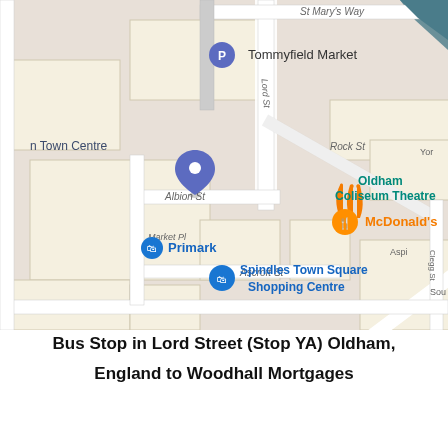[Figure (map): Google Maps screenshot showing Oldham town centre area with landmarks including Tommyfield Market, Primark, McDonald's, Spindles Town Square Shopping Centre, Oldham Coliseum Theatre, Sainsbury's, and various streets including Lord St, Rock St, Church St, Albion St, Ascroft St, Greaves St, Queen St, Clegg St, Retro St.]
Bus Stop in Lord Street (Stop YA) Oldham, England to Woodhall Mortgages